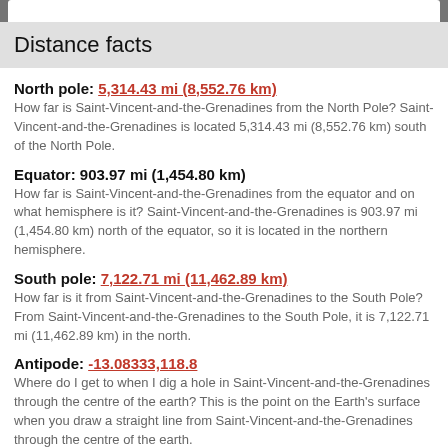Distance facts
North pole: 5,314.43 mi (8,552.76 km)
How far is Saint-Vincent-and-the-Grenadines from the North Pole? Saint-Vincent-and-the-Grenadines is located 5,314.43 mi (8,552.76 km) south of the North Pole.
Equator: 903.97 mi (1,454.80 km)
How far is Saint-Vincent-and-the-Grenadines from the equator and on what hemisphere is it? Saint-Vincent-and-the-Grenadines is 903.97 mi (1,454.80 km) north of the equator, so it is located in the northern hemisphere.
South pole: 7,122.71 mi (11,462.89 km)
How far is it from Saint-Vincent-and-the-Grenadines to the South Pole? From Saint-Vincent-and-the-Grenadines to the South Pole, it is 7,122.71 mi (11,462.89 km) in the north.
Antipode: -13.08333,118.8
Where do I get to when I dig a hole in Saint-Vincent-and-the-Grenadines through the centre of the earth? This is the point on the Earth's surface when you draw a straight line from Saint-Vincent-and-the-Grenadines through the centre of the earth.
Furthest cities from Saint-Vincent-and-the-Grenadines